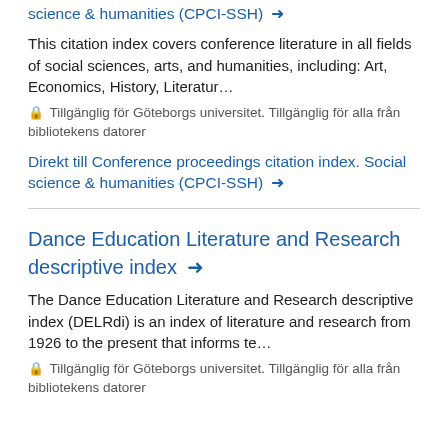science & humanities (CPCI-SSH) →
This citation index covers conference literature in all fields of social sciences, arts, and humanities, including: Art, Economics, History, Literatur…
🔒 Tillgänglig för Göteborgs universitet. Tillgänglig för alla från bibliotekens datorer
Direkt till Conference proceedings citation index. Social science & humanities (CPCI-SSH) →
Dance Education Literature and Research descriptive index →
The Dance Education Literature and Research descriptive index (DELRdi) is an index of literature and research from 1926 to the present that informs te…
🔒 Tillgänglig för Göteborgs universitet. Tillgänglig för alla från bibliotekens datorer